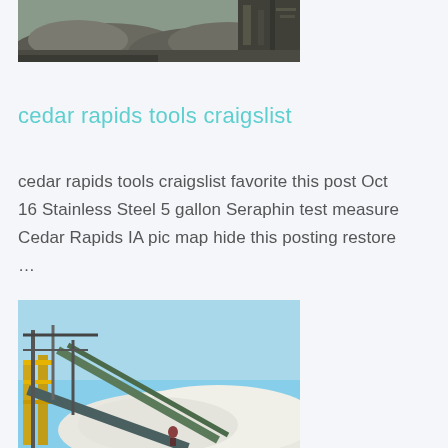[Figure (photo): Aerial/ground level view of a gravel/aggregate processing facility with large piles of crushed stone material and industrial conveyor structures]
cedar rapids tools craigslist
cedar rapids tools craigslist favorite this post Oct 16 Stainless Steel 5 gallon Seraphin test measure Cedar Rapids IA pic map hide this posting restore …
[Figure (photo): Industrial aggregate/mining processing facility with conveyor belts, scaffolding, yellow structural elements, and a worker visible near white crushed stone piles under a blue sky]